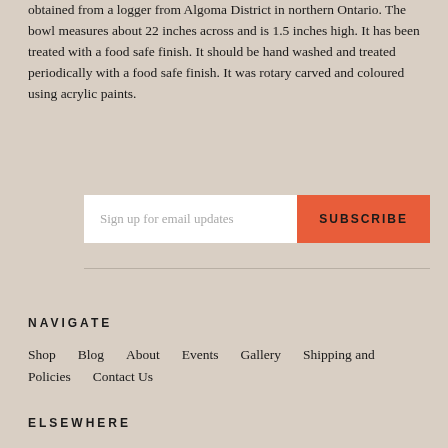obtained from a logger from Algoma District in northern Ontario. The bowl measures about 22 inches across and is 1.5 inches high. It has been treated with a food safe finish. It should be hand washed and treated periodically with a food safe finish. It was rotary carved and coloured using acrylic paints.
Sign up for email updates
SUBSCRIBE
NAVIGATE
Shop  Blog  About  Events  Gallery  Shipping and Policies  Contact Us
ELSEWHERE